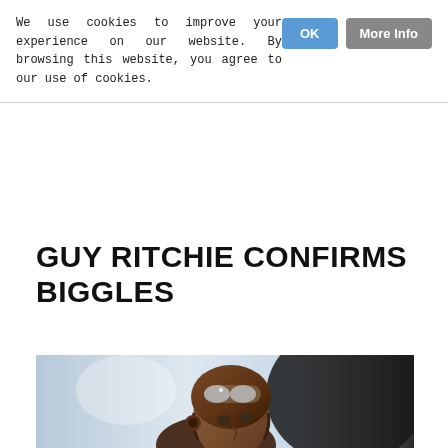We use cookies to improve your experience on our website. By browsing this website, you agree to our use of cookies.
GUY RITCHIE CONFIRMS BIGGLES
[Figure (illustration): Illustrated portrait of a World War I or II aviator wearing a brown leather flying helmet and goggles pushed up on his head, looking upward with a determined expression. An aircraft tail or fuselage is visible in the dark background on the right.]